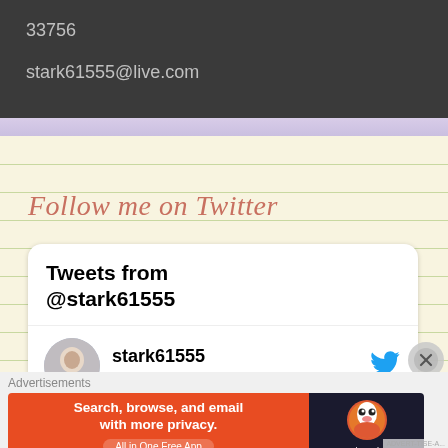33756
stark61555@live.com
Follow me on Twitter
Tweets from @stark61555
stark61555 @st... · 38m
Advertisements
[Figure (screenshot): DuckDuckGo advertisement banner: 'Search, browse, and email with more privacy. All in One Free App' on orange background with DuckDuckGo logo on dark background]